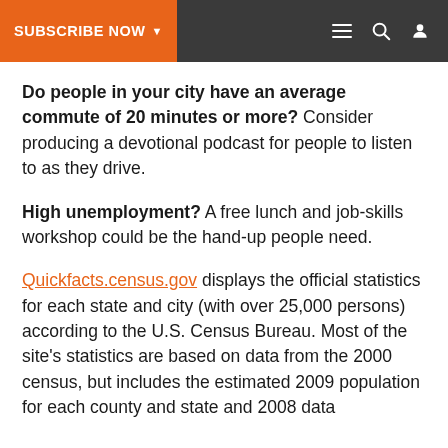SUBSCRIBE NOW ▾
Do people in your city have an average commute of 20 minutes or more? Consider producing a devotional podcast for people to listen to as they drive.
High unemployment? A free lunch and job-skills workshop could be the hand-up people need.
Quickfacts.census.gov displays the official statistics for each state and city (with over 25,000 persons) according to the U.S. Census Bureau. Most of the site's statistics are based on data from the 2000 census, but includes the estimated 2009 population for each county and state and 2008 data